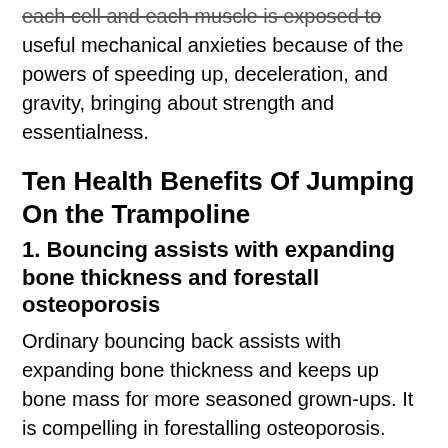each cell and each muscle is exposed to useful mechanical anxieties because of the powers of speeding up, deceleration, and gravity, bringing about strength and essentialness.
Ten Health Benefits Of Jumping On the Trampoline
1. Bouncing assists with expanding bone thickness and forestall osteoporosis
Ordinary bouncing back assists with expanding bone thickness and keeps up bone mass for more seasoned grown-ups. It is compelling in forestalling osteoporosis. Bones can get more grounded under pressure and more fragile